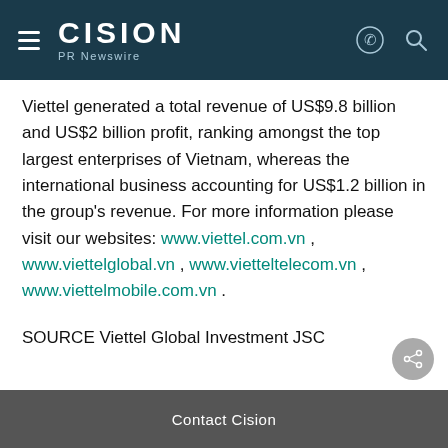CISION PR Newswire
Viettel generated a total revenue of US$9.8 billion and US$2 billion profit, ranking amongst the top largest enterprises of Vietnam, whereas the international business accounting for US$1.2 billion in the group's revenue. For more information please visit our websites: www.viettel.com.vn , www.viettelglobal.vn , www.vietteltelecom.vn , www.viettelmobile.com.vn .
SOURCE Viettel Global Investment JSC
Contact Cision